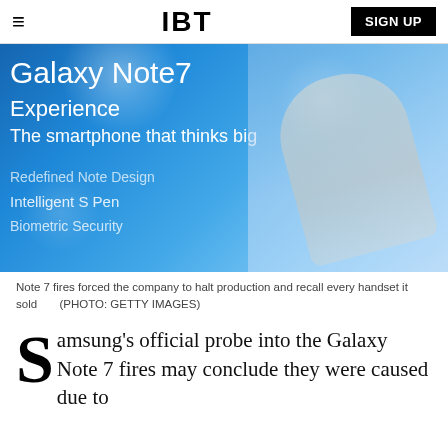IBT  SIGN UP
[Figure (photo): A person pointing at a Samsung Galaxy Note 7 Experience display screen showing text: 'Galaxy Note7 Experience', 'The smartphone that thinks big', 'Redefined Note Design', 'Intelligent S Pen', 'Biometric Security' on a blue background.]
Note 7 fires forced the company to halt production and recall every handset it sold      (PHOTO: GETTY IMAGES)
Samsung's official probe into the Galaxy Note 7 fires may conclude they were caused due to